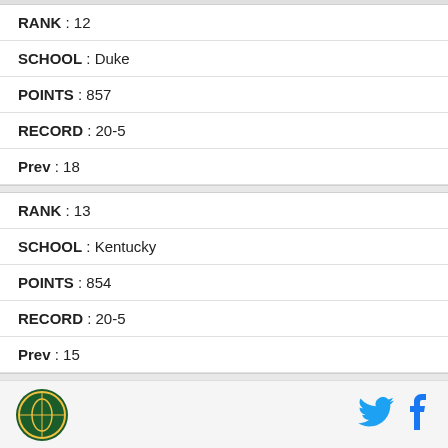RANK : 12
SCHOOL : Duke
POINTS : 857
RECORD : 20-5
Prev : 18
RANK : 13
SCHOOL : Kentucky
POINTS : 854
RECORD : 20-5
Prev : 15
RANK : 14